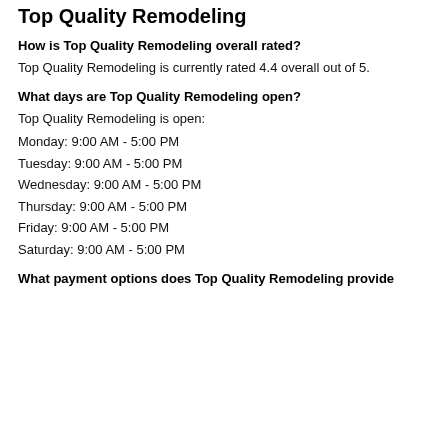Top Quality Remodeling
How is Top Quality Remodeling overall rated?
Top Quality Remodeling is currently rated 4.4 overall out of 5.
What days are Top Quality Remodeling open?
Top Quality Remodeling is open:
Monday: 9:00 AM - 5:00 PM
Tuesday: 9:00 AM - 5:00 PM
Wednesday: 9:00 AM - 5:00 PM
Thursday: 9:00 AM - 5:00 PM
Friday: 9:00 AM - 5:00 PM
Saturday: 9:00 AM - 5:00 PM
What payment options does Top Quality Remodeling provide